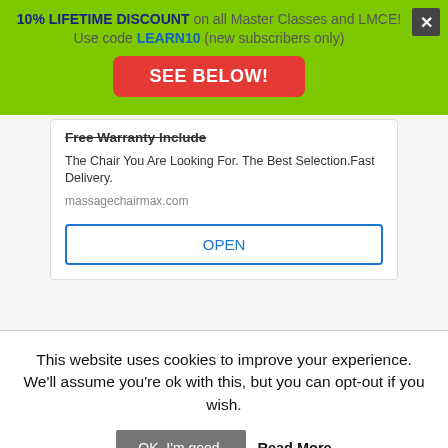[Figure (screenshot): Green promotional banner with text: 10% LIFETIME DISCOUNT on all Master Classes and LMCE! Use code LEARN10 (new subscribers only), a red SEE BELOW! button, and a close X button in the top right.]
Free Warranty Include
The Chair You Are Looking For. The Best Selection.Fast Delivery.
massagechairmax.com
OPEN
This website uses cookies to improve your experience. We'll assume you're ok with this, but you can opt-out if you wish.
OK, I'm good.
Read More